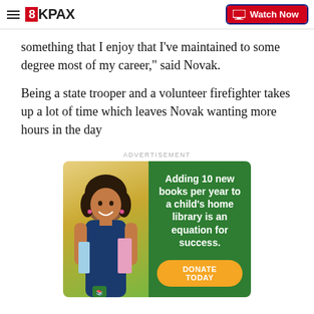8KPAX | Watch Now
something that I enjoy that I’ve maintained to some degree most of my career," said Novak.
Being a state trooper and a volunteer firefighter takes up a lot of time which leaves Novak wanting more hours in the day
ADVERTISEMENT
[Figure (photo): Advertisement banner: A smiling young girl on a yellow-green background on the left side; green panel on the right with white text reading 'Adding 10 new books per year to a child’s home library is an equation for success.' and an orange button reading 'DONATE TODAY']